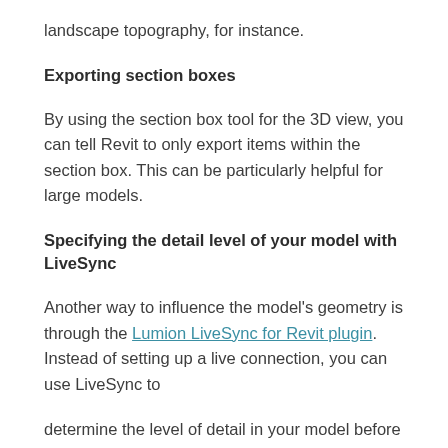landscape topography, for instance.
Exporting section boxes
By using the section box tool for the 3D view, you can tell Revit to only export items within the section box. This can be particularly helpful for large models.
Specifying the detail level of your model with LiveSync
Another way to influence the model’s geometry is through the Lumion LiveSync for Revit plugin. Instead of setting up a live connection, you can use LiveSync to
determine the level of detail in your model before